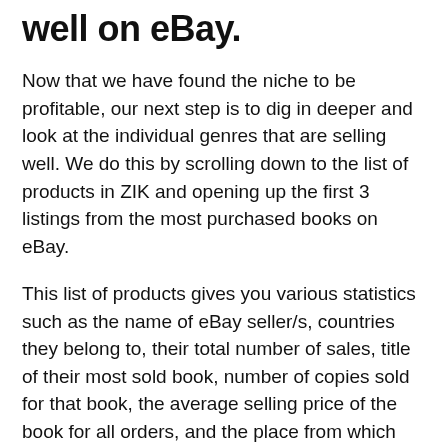well on eBay.
Now that we have found the niche to be profitable, our next step is to dig in deeper and look at the individual genres that are selling well. We do this by scrolling down to the list of products in ZIK and opening up the first 3 listings from the most purchased books on eBay.
This list of products gives you various statistics such as the name of eBay seller/s, countries they belong to, their total number of sales, title of their most sold book, number of copies sold for that book, the average selling price of the book for all orders, and the place from which the books were shipped.
When you open any of these listings, you will be directed to the actual eBay listing where you can further analyze the listing.